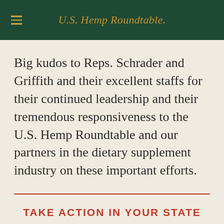U.S. Hemp Roundtable.
Big kudos to Reps. Schrader and Griffith and their excellent staffs for their continued leadership and their tremendous responsiveness to the U.S. Hemp Roundtable and our partners in the dietary supplement industry on these important efforts.
TAKE ACTION IN YOUR STATE